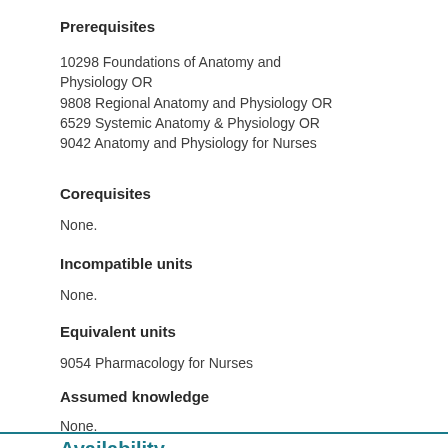Prerequisites
10298 Foundations of Anatomy and Physiology OR
9808 Regional Anatomy and Physiology OR
6529 Systemic Anatomy & Physiology OR
9042 Anatomy and Physiology for Nurses
Corequisites
None.
Incompatible units
None.
Equivalent units
9054 Pharmacology for Nurses
Assumed knowledge
None.
Availability